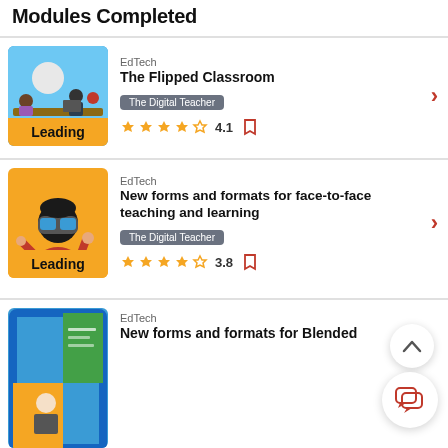Modules Completed
[Figure (illustration): Course thumbnail: classroom scene with people at a table, yellow 'Leading' label, blue background]
EdTech
The Flipped Classroom
The Digital Teacher
4.1
[Figure (illustration): Course thumbnail: person with VR headset on yellow background, 'Leading' label]
EdTech
New forms and formats for face-to-face teaching and learning
The Digital Teacher
3.8
[Figure (illustration): Course thumbnail: partially visible, blue frame with person, yellow/green background]
EdTech
New forms and formats for Blended